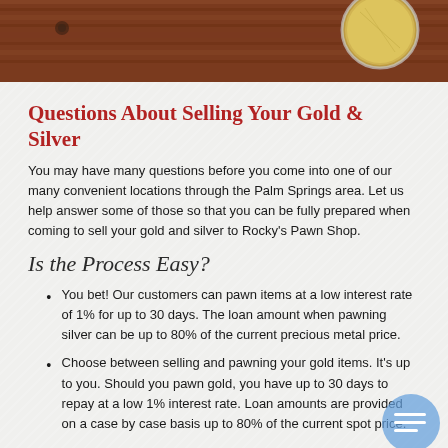[Figure (photo): Top portion of a photograph showing a gold and silver coin on a wooden surface, partially cropped]
Questions About Selling Your Gold & Silver
You may have many questions before you come into one of our many convenient locations through the Palm Springs area. Let us help answer some of those so that you can be fully prepared when coming to sell your gold and silver to Rocky's Pawn Shop.
Is the Process Easy?
You bet! Our customers can pawn items at a low interest rate of 1% for up to 30 days. The loan amount when pawning silver can be up to 80% of the current precious metal price.
Choose between selling and pawning your gold items. It's up to you. Should you pawn gold, you have up to 30 days to repay at a low 1% interest rate. Loan amounts are provided on a case by case basis up to 80% of the current spot price.